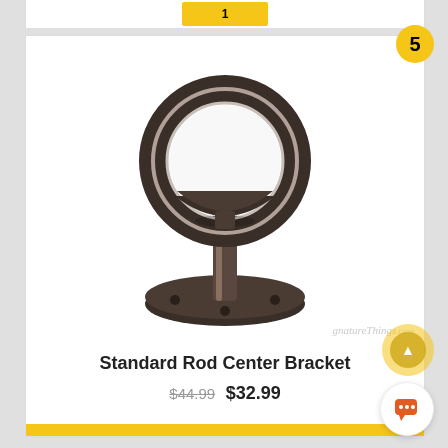[Figure (photo): Product listing screenshot showing a Standard Rod Center Bracket — a circular ring-shaped curtain rod bracket on a pedestal base, dark bronze/oil-rubbed finish, with SignatureThings.com watermark]
5
Standard Rod Center Bracket
$44.99  $32.99